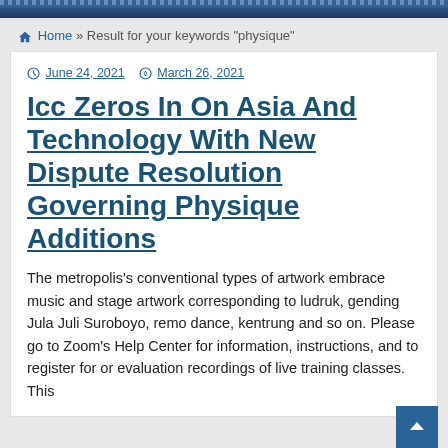Home » Result for your keywords "physique"
June 24, 2021   March 26, 2021
Icc Zeros In On Asia And Technology With New Dispute Resolution Governing Physique Additions
The metropolis's conventional types of artwork embrace music and stage artwork corresponding to ludruk, gending Jula Juli Suroboyo, remo dance, kentrung and so on. Please go to Zoom's Help Center for information, instructions, and to register for or evaluation recordings of live training classes. This